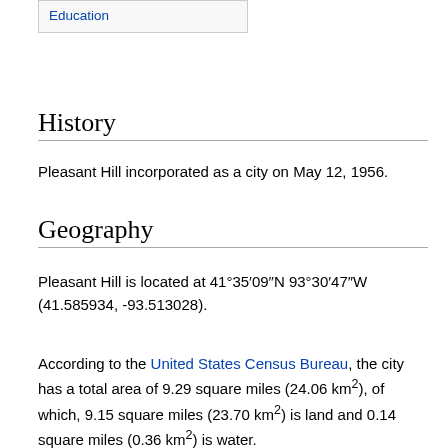Education
History
Pleasant Hill incorporated as a city on May 12, 1956.
Geography
Pleasant Hill is located at 41°35′09″N 93°30′47″W (41.585934, -93.513028).
According to the United States Census Bureau, the city has a total area of 9.29 square miles (24.06 km²), of which, 9.15 square miles (23.70 km²) is land and 0.14 square miles (0.36 km²) is water.